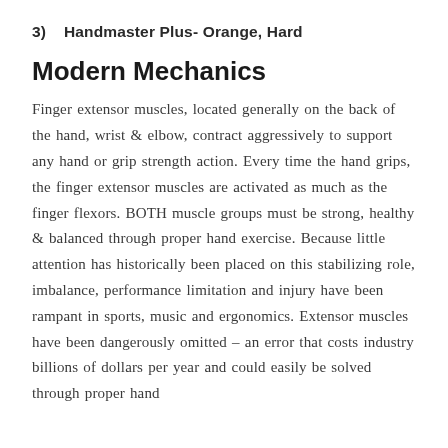3)  Handmaster Plus- Orange, Hard
Modern Mechanics
Finger extensor muscles, located generally on the back of the hand, wrist & elbow, contract aggressively to support any hand or grip strength action. Every time the hand grips, the finger extensor muscles are activated as much as the finger flexors. BOTH muscle groups must be strong, healthy & balanced through proper hand exercise. Because little attention has historically been placed on this stabilizing role, imbalance, performance limitation and injury have been rampant in sports, music and ergonomics. Extensor muscles have been dangerously omitted – an error that costs industry billions of dollars per year and could easily be solved through proper hand